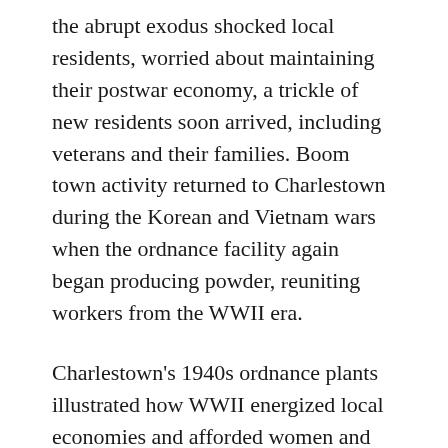the abrupt exodus shocked local residents, worried about maintaining their postwar economy, a trickle of new residents soon arrived, including veterans and their families. Boom town activity returned to Charlestown during the Korean and Vietnam wars when the ordnance facility again began producing powder, reuniting workers from the WWII era.
Charlestown's 1940s ordnance plants illustrated how WWII energized local economies and afforded women and African Americans job opportunities. Accommodating the massive facility transformed Charlestown from a town to a city and led to its first sewage system,the resurfacing and improvement of